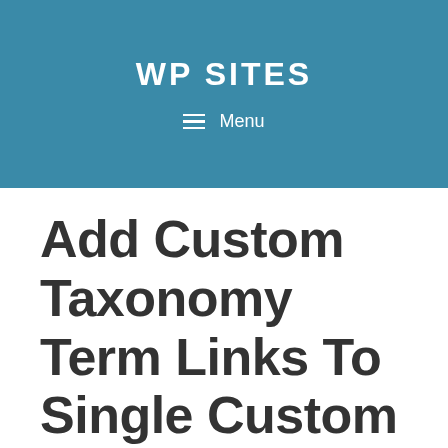WP SITES
☰ Menu
Add Custom Taxonomy Term Links To Single Custom Post Type